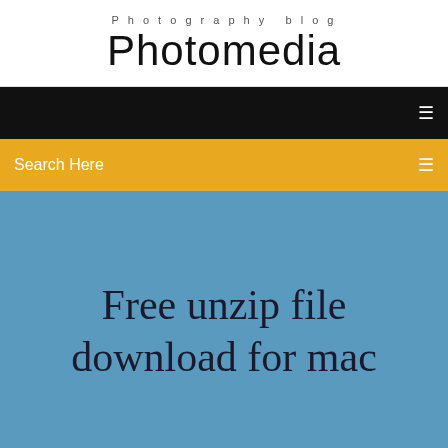Photography blog
Photomedia
Search Here
Free unzip file download for mac